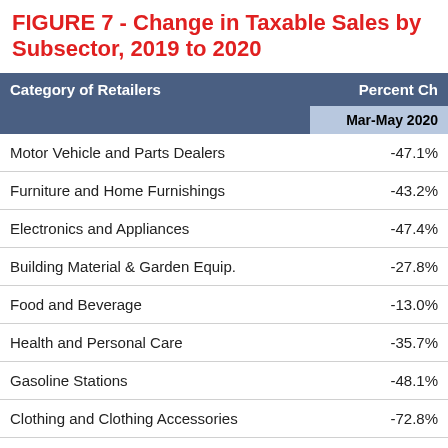FIGURE 7 - Change in Taxable Sales by Subsector, 2019 to 2020
| Category of Retailers | Percent Ch… Mar-May 2020 |
| --- | --- |
| Motor Vehicle and Parts Dealers | -47.1% |
| Furniture and Home Furnishings | -43.2% |
| Electronics and Appliances | -47.4% |
| Building Material & Garden Equip. | -27.8% |
| Food and Beverage | -13.0% |
| Health and Personal Care | -35.7% |
| Gasoline Stations | -48.1% |
| Clothing and Clothing Accessories | -72.8% |
| Sporting Goods, Music, and Books | -33.8% |